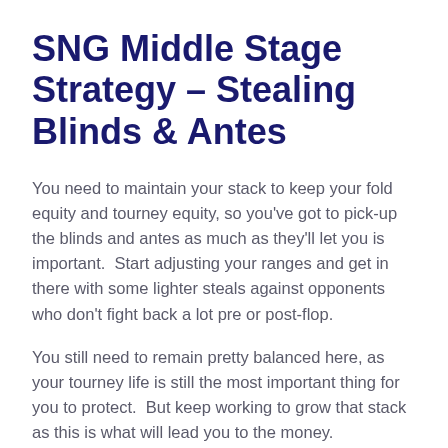SNG Middle Stage Strategy – Stealing Blinds & Antes
You need to maintain your stack to keep your fold equity and tourney equity, so you've got to pick-up the blinds and antes as much as they'll let you is important.  Start adjusting your ranges and get in there with some lighter steals against opponents who don't fight back a lot pre or post-flop.
You still need to remain pretty balanced here, as your tourney life is still the most important thing for you to protect.  But keep working to grow that stack as this is what will lead you to the money.